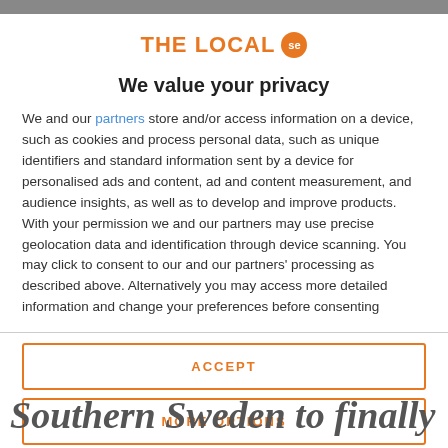THE LOCAL se
We value your privacy
We and our partners store and/or access information on a device, such as cookies and process personal data, such as unique identifiers and standard information sent by a device for personalised ads and content, ad and content measurement, and audience insights, as well as to develop and improve products. With your permission we and our partners may use precise geolocation data and identification through device scanning. You may click to consent to our and our partners' processing as described above. Alternatively you may access more detailed information and change your preferences before consenting
ACCEPT
MORE OPTIONS
Southern Sweden to finally